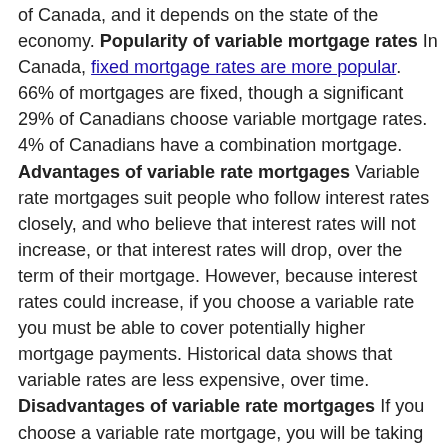of Canada, and it depends on the state of the economy. Popularity of variable mortgage rates In Canada, fixed mortgage rates are more popular. 66% of mortgages are fixed, though a significant 29% of Canadians choose variable mortgage rates. 4% of Canadians have a combination mortgage. Advantages of variable rate mortgages Variable rate mortgages suit people who follow interest rates closely, and who believe that interest rates will not increase, or that interest rates will drop, over the term of their mortgage. However, because interest rates could increase, if you choose a variable rate you must be able to cover potentially higher mortgage payments. Historical data shows that variable rates are less expensive, over time. Disadvantages of variable rate mortgages If you choose a variable rate mortgage, you will be taking a financial risk. If you don't feel comfortable with this risk, you may want to choose a fixed rate mortgage. Fixed rate mortgages suit people who don't want to take financial risks, and who want to be sure that their interest rate won't change over the term of their mortgage. Consider a fixed rate mortgage if you think market interest rates will increase throughout the term of your mortgage. Fixed rate mortgages are generally chosen by homebuyers who don't have the ability to cover